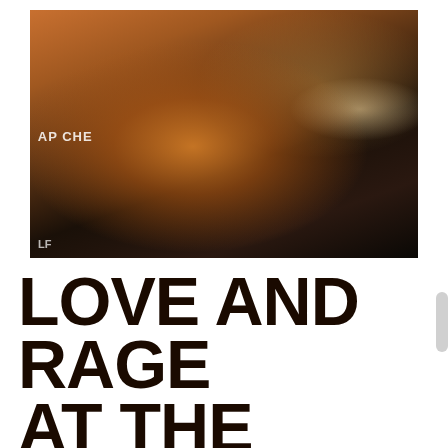[Figure (photo): Nighttime outdoor photo of a woman with short blonde hair performing at a microphone stand, holding papers, wearing a dark sleeveless top. Behind her are signs including one reading 'APACHE' and a green banner. Warm amber stage lighting illuminates her face and upper body. Watermark 'LF' visible in bottom left corner.]
LOVE AND RAGE AT THE BORDER: AN ARTISTIC